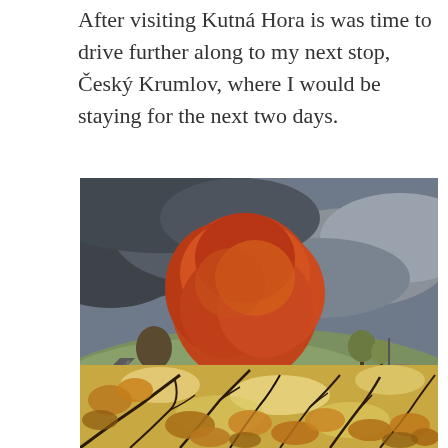After visiting Kutná Hora is was time to drive further along to my next stop, Český Krumlov, where I would be staying for the next two days.
[Figure (photo): Autumn landscape photograph showing a large tree with vivid red and orange foliage on a gentle green hill, under a dramatic overcast grey cloudy sky. A road is visible on the left side, with bare trees and distant farm buildings on the right.]
[Figure (photo): Close-up photograph looking up through a canopy of autumn trees with golden, orange and brown leaves backlit by bright sky light filtering through the branches.]